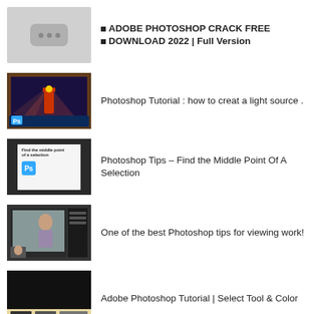ADOBE PHOTOSHOP CRACK FREE DOWNLOAD 2022 | Full Version
Photoshop Tutorial : how to creat a light source .
Photoshop Tips – Find the Middle Point Of A Selection
One of the best Photoshop tips for viewing work!
Adobe Photoshop Tutorial | Select Tool & Color